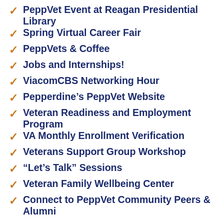PeppVet Event at Reagan Presidential Library
Spring Virtual Career Fair
PeppVets & Coffee
Jobs and Internships!
ViacomCBS Networking Hour
Pepperdine's PeppVet Website
Veteran Readiness and Employment Program
VA Monthly Enrollment Verification
Veterans Support Group Workshop
“Let’s Talk” Sessions
Veteran Family Wellbeing Center
Connect to PeppVet Community Peers & Alumni